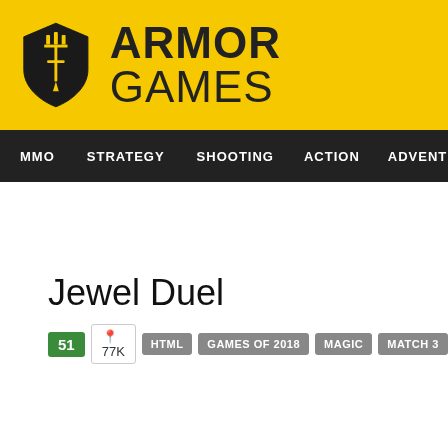ARMOR GAMES
MMO  STRATEGY  SHOOTING  ACTION  ADVENTURE  P
Jewel Duel
51  77K  HTML  GAMES OF 2018  MAGIC  MATCH 3  MOUSE ONLY